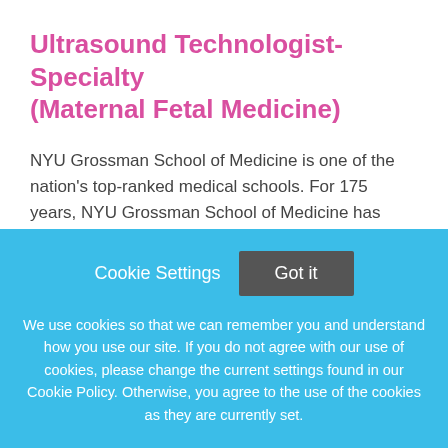Ultrasound Technologist-Specialty (Maternal Fetal Medicine)
NYU Grossman School of Medicine is one of the nation's top-ranked medical schools. For 175 years, NYU Grossman School of Medicine has trained thousands of physicians and scientists who have helped to shape the course of
This job listing is no longer active.
Cookie Settings
Got it
We use cookies so that we can remember you and understand how you use our site. If you do not agree with our use of cookies, please change the current settings found in our Cookie Policy. Otherwise, you agree to the use of the cookies as they are currently set.